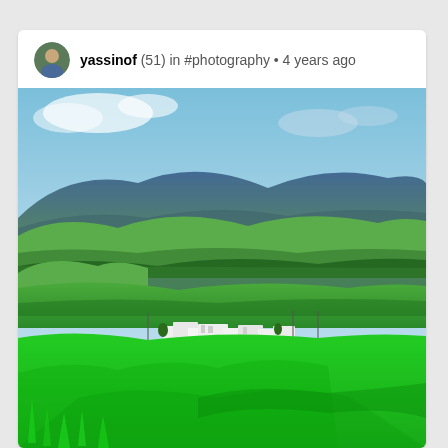yassinof (51) in #photography • 4 years ago
[Figure (photo): Landscape photo showing rolling green hills and agricultural fields with white buildings in the middle ground and blue mountains with clouds in the background. Vibrant green foreground with grain crops.]